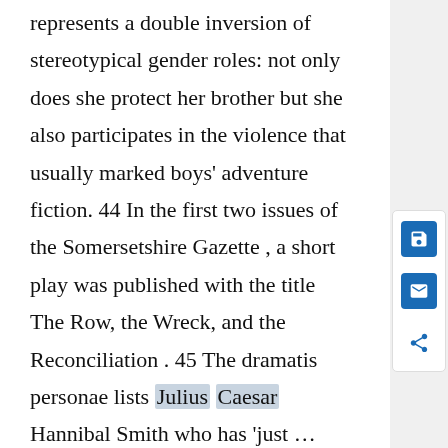represents a double inversion of stereotypical gender roles: not only does she protect her brother but she also participates in the violence that usually marked boys' adventure fiction. 44 In the first two issues of the Somersetshire Gazette , a short play was published with the title The Row, the Wreck, and the Reconciliation . 45 The dramatis personae lists Julius Caesar Hannibal Smith who has 'just … lost some twenty thousand pounds', his daughter Zerlina, her lover and Smith's clerk, Lorenzo Jones, and an old and rich merchant